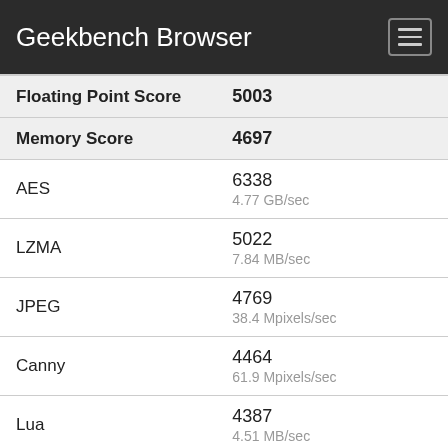Geekbench Browser
| Metric | Score | Unit |
| --- | --- | --- |
| Floating Point Score | 5003 |  |
| Memory Score | 4697 |  |
| AES | 6338 | 4.77 GB/sec |
| LZMA | 5022 | 7.84 MB/sec |
| JPEG | 4769 | 38.4 Mpixels/sec |
| Canny | 4464 | 61.9 Mpixels/sec |
| Lua | 4387 | 4.51 MB/sec |
| Dijkstra | 5843 | 3.95 MTE/sec |
| SQLite | 4225 | 117.1 Krows/sec |